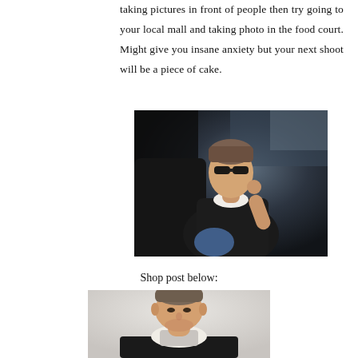taking pictures in front of people then try going to your local mall and taking photo in the food court. Might give you insane anxiety but your next shoot will be a piece of cake.
[Figure (photo): Man wearing sunglasses and a dark jacket with white collar sitting in a car]
Shop post below:
[Figure (photo): Man wearing a dark jacket with white/cream collar looking downward against light background]